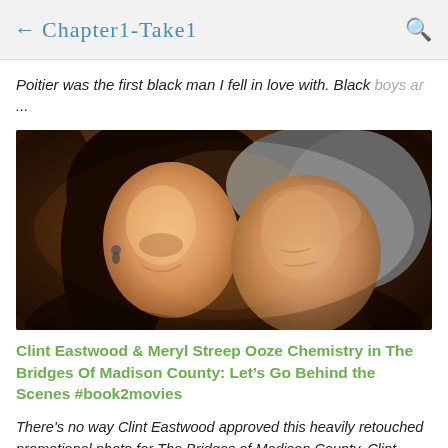← Chapter1-Take1 🔍
Poitier was the first black man I fell in love with. Black boys ar...
[Figure (photo): Close-up promotional photo of a woman and man (representing Meryl Streep and Clint Eastwood) with faces close together in a romantic pose, warm amber tones.]
Clint Eastwood & Meryl Streep Ooze Chemistry in The Bridges Of Madison County: Let's Go Behind the Scenes #book2movies
There's no way Clint Eastwood approved this heavily retouched promotional photo for The Bridges of Madison County. Clint looked much older in the actual film, the wrinkles folding down onto his neck. And yet still sexy. Go figure! My husband walke...